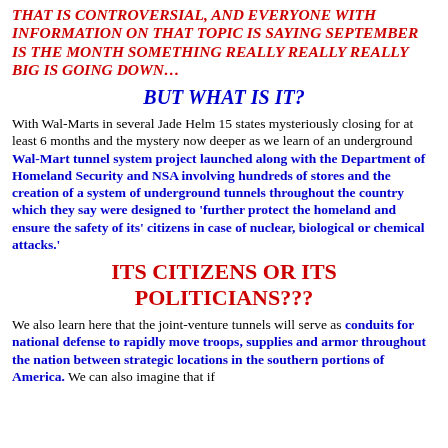THAT IS CONTROVERSIAL, AND EVERYONE WITH INFORMATION ON THAT TOPIC IS SAYING SEPTEMBER IS THE MONTH SOMETHING REALLY REALLY REALLY BIG IS GOING DOWN…
BUT WHAT IS IT?
With Wal-Marts in several Jade Helm 15 states mysteriously closing for at least 6 months and the mystery now deeper as we learn of an underground Wal-Mart tunnel system project launched along with the Department of Homeland Security and NSA involving hundreds of stores and the creation of a system of underground tunnels throughout the country which they say were designed to 'further protect the homeland and ensure the safety of its' citizens in case of nuclear, biological or chemical attacks.'
ITS CITIZENS OR ITS POLITICIANS???
We also learn here that the joint-venture tunnels will serve as conduits for national defense to rapidly move troops, supplies and armor throughout the nation between strategic locations in the southern portions of America. We can also imagine that if